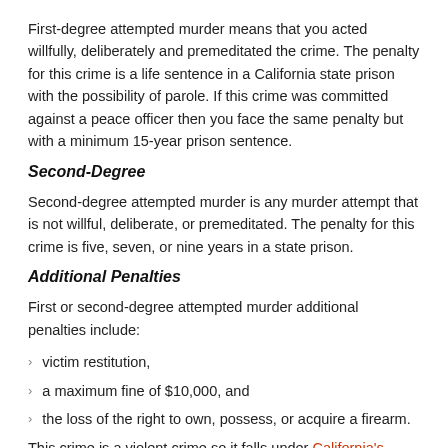First-degree attempted murder means that you acted willfully, deliberately and premeditated the crime. The penalty for this crime is a life sentence in a California state prison with the possibility of parole. If this crime was committed against a peace officer then you face the same penalty but with a minimum 15-year prison sentence.
Second-Degree
Second-degree attempted murder is any murder attempt that is not willful, deliberate, or premeditated. The penalty for this crime is five, seven, or nine years in a state prison.
Additional Penalties
First or second-degree attempted murder additional penalties include:
victim restitution,
a maximum fine of $10,000, and
the loss of the right to own, possess, or acquire a firearm.
This crime is a violent crime so it falls under California's three strike